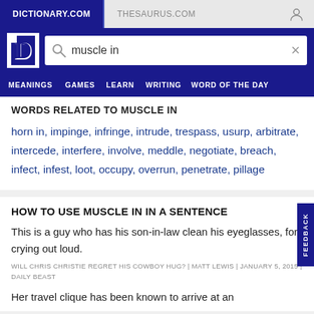DICTIONARY.COM | THESAURUS.COM
WORDS RELATED TO MUSCLE IN
horn in, impinge, infringe, intrude, trespass, usurp, arbitrate, intercede, interfere, involve, meddle, negotiate, breach, infect, infest, loot, occupy, overrun, penetrate, pillage
HOW TO USE MUSCLE IN IN A SENTENCE
This is a guy who has his son-in-law clean his eyeglasses, for crying out loud.
WILL CHRIS CHRISTIE REGRET HIS COWBOY HUG? | MATT LEWIS | JANUARY 5, 2015 | DAILY BEAST
Her travel clique has been known to arrive at an